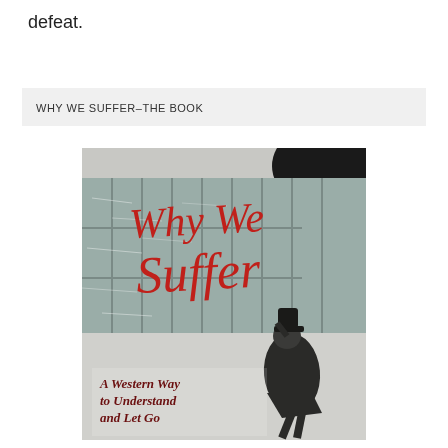defeat.
WHY WE SUFFER–THE BOOK
[Figure (illustration): Book cover of 'Why We Suffer – A Western Way to Understand and Let Go'. Shows a black-and-white photograph of a person in a coat and hat struggling against wind and snow in front of a building, with large red hand-lettered text 'Why We Suffer' overlaid, and dark cloud shape in upper right corner. Subtitle in dark red italic text reads 'A Western Way to Understand and Let Go'.]